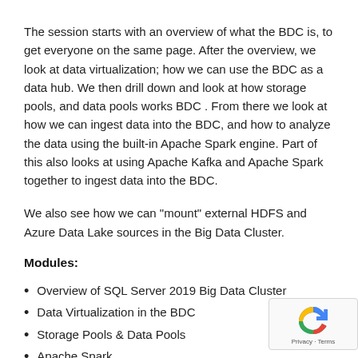The session starts with an overview of what the BDC is, to get everyone on the same page. After the overview, we look at data virtualization; how we can use the BDC as a data hub. We then drill down and look at how storage pools, and data pools works BDC . From there we look at how we can ingest data into the BDC, and how to analyze the data using the built-in Apache Spark engine. Part of this also looks at using Apache Kafka and Apache Spark together to ingest data into the BDC.
We also see how we can "mount" external HDFS and Azure Data Lake sources in the Big Data Cluster.
Modules:
Overview of SQL Server 2019 Big Data Cluster
Data Virtualization in the BDC
Storage Pools & Data Pools
Apache Spark
Data Ingestion into the BDC